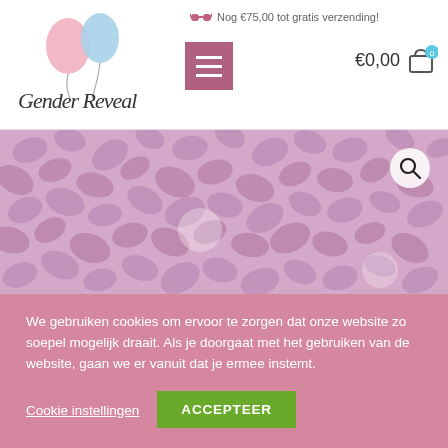Gender Reveal Shop header with logo, hamburger menu, and cart showing €0,00
Nog €75,00 tot gratis verzending!
[Figure (photo): Close-up photo of light pink confetti pieces shaped like monstera leaves scattered densely, with a magnify/zoom icon in top right corner]
We gebruiken cookies om ervoor te zorgen dat onze website zo soepel mogelijk draait. Als je doorgaat met het gebruiken van de website, gaan we er vanuit dat je ermee instemt.
Cookie instellingen
ACCEPTEER